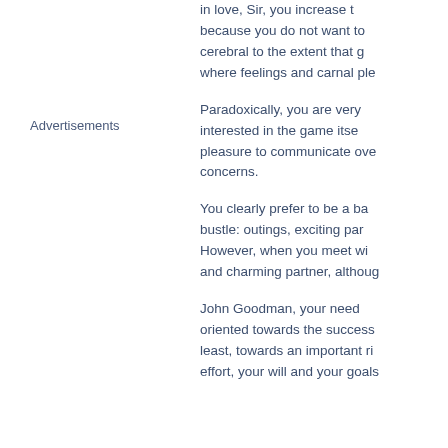Advertisements
in love, Sir, you increase t because you do not want to cerebral to the extent that g where feelings and carnal ple
Paradoxically, you are very interested in the game itse pleasure to communicate ove concerns.
You clearly prefer to be a ba bustle: outings, exciting par However, when you meet wi and charming partner, althoug
John Goodman, your need oriented towards the success least, towards an important ri effort, your will and your goals